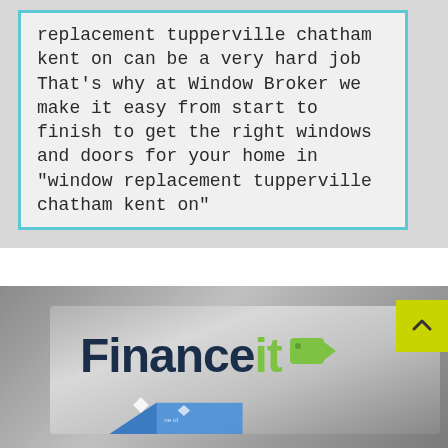replacement tupperville chatham kent on can be a very hard job That's why at Window Broker we make it easy from start to finish to get the right windows and doors for your home in "window replacement tupperville chatham kent on"
[Figure (logo): Financeit logo — dark navy 'Finance' text followed by lime green 'it' text with a small lime green tag/label icon, displayed on a metallic silver gradient background with a blue credit-card graphic partially visible at the bottom]